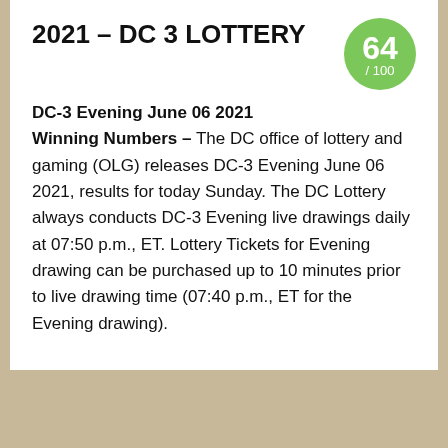2021 – DC 3 LOTTERY
DC-3 Evening June 06 2021
Winning Numbers – The DC office of lottery and gaming (OLG) releases DC-3 Evening June 06 2021, results for today Sunday. The DC Lottery always conducts DC-3 Evening live drawings daily at 07:50 p.m., ET. Lottery Tickets for Evening drawing can be purchased up to 10 minutes prior to live drawing time (07:40 p.m., ET for the Evening drawing).